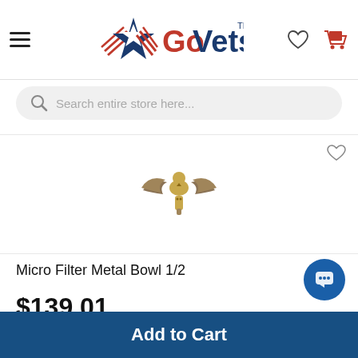[Figure (logo): GoVets logo with red and blue star graphic and text GoVets with TM mark]
[Figure (screenshot): Search bar with magnifying glass icon and placeholder text 'Search entire store here...']
[Figure (photo): Product image showing a micro filter metal bowl brass fitting partially visible at top]
Micro Filter Metal Bowl 1/2
$139.01
Add to Cart